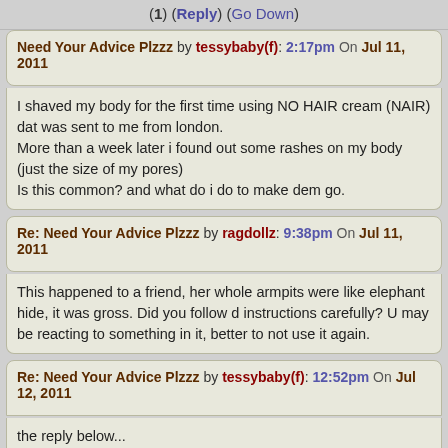(1) (Reply) (Go Down)
Need Your Advice Plzzz by tessybaby(f): 2:17pm On Jul 11, 2011
I shaved my body for the first time using NO HAIR cream (NAIR) dat was sent to me from london.
More than a week later i found out some rashes on my body (just the size of my pores)
Is this common? and what do i do to make dem go.
Re: Need Your Advice Plzzz by ragdollz: 9:38pm On Jul 11, 2011
This happened to a friend, her whole armpits were like elephant hide, it was gross. Did you follow d instructions carefully? U may be reacting to something in it, better to not use it again.
Re: Need Your Advice Plzzz by tessybaby(f): 12:52pm On Jul 12, 2011
the reply below...